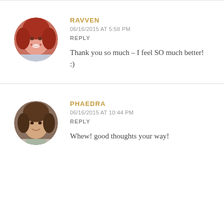[Figure (photo): Circular avatar photo of Ravven, a woman with red hair smiling]
RAVVEN
06/16/2015 AT 5:58 PM
REPLY
Thank you so much – I feel SO much better! :)
[Figure (photo): Circular avatar photo of Phaedra, a woman with brown hair]
PHAEDRA
06/16/2015 AT 10:44 PM
REPLY
Whew! good thoughts your way!